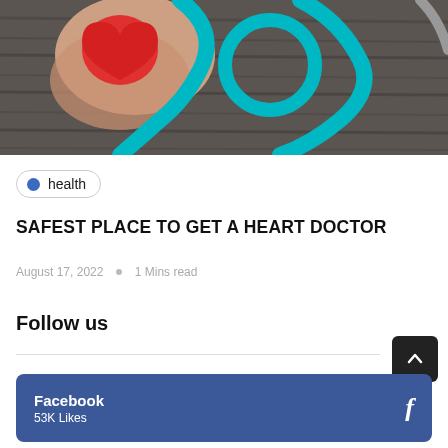[Figure (photo): Hand holding a red heart model with a teal/turquoise stethoscope on a dark wood background]
health
SAFEST PLACE TO GET A HEART DOCTOR
August 17, 2022  •  1 Mins read
Follow us
Facebook
53K Likes